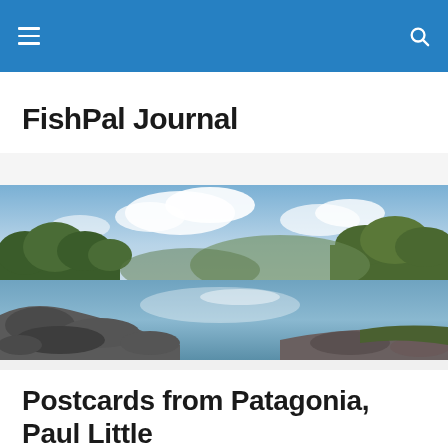FishPal Journal navigation bar with hamburger menu and search icon
FishPal Journal
[Figure (photo): Wide panoramic photo of a river scene with rocky foreground, calm water reflecting sunlight, and trees and hills in the background under a partly cloudy sky.]
Postcards from Patagonia, Paul Little
Posted by FishPal Journal